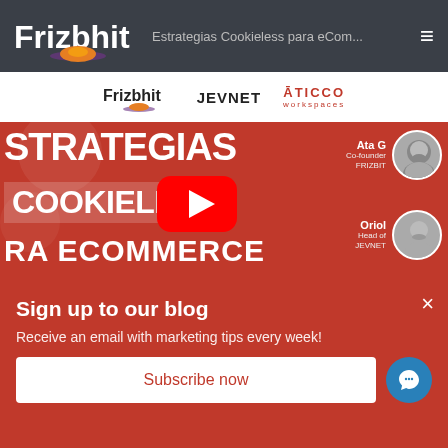Frizbit — Estrategias Cookieless para eCom...
[Figure (screenshot): Website screenshot showing Frizbhit, JEVNET, and Aticco Workspaces logos in a white bar above a red promotional banner for 'Estrategias Cookieless para Ecommerce' event with two speaker photos (Ata G., Co-founder FRIZBIT and Oriol, Head of JEVNET) and a YouTube play button overlay]
Sign up to our blog
Receive an email with marketing tips every week!
Subscribe now